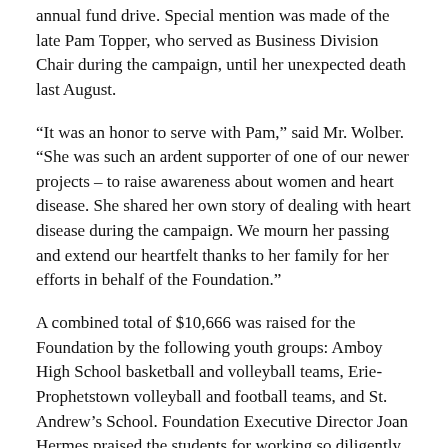annual fund drive. Special mention was made of the late Pam Topper, who served as Business Division Chair during the campaign, until her unexpected death last August.
“It was an honor to serve with Pam,” said Mr. Wolber. “She was such an ardent supporter of one of our newer projects – to raise awareness about women and heart disease. She shared her own story of dealing with heart disease during the campaign. We mourn her passing and extend our heartfelt thanks to her family for her efforts in behalf of the Foundation.”
A combined total of $10,666 was raised for the Foundation by the following youth groups: Amboy High School basketball and volleyball teams, Erie-Prophetstown volleyball and football teams, and St. Andrew’s School. Foundation Executive Director Joan Hermes praised the students for working so diligently to benefit their communities by focusing on the needs of others.
During the last 31 years, over $10 million has been